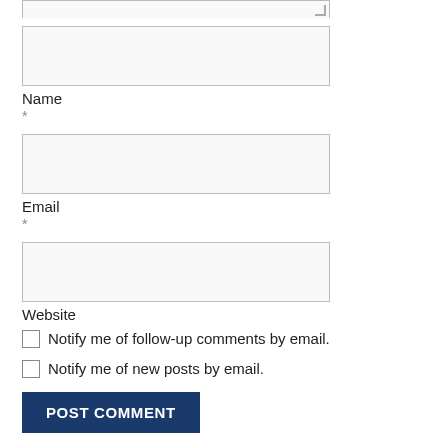[Figure (other): Top portion of a textarea input (cropped at top of page)]
Name
*
[Figure (other): Email text input field]
Email
*
[Figure (other): Website text input field]
Website
Notify me of follow-up comments by email.
Notify me of new posts by email.
POST COMMENT
This site uses Akismet to reduce spam. Learn how your comment data is processed.